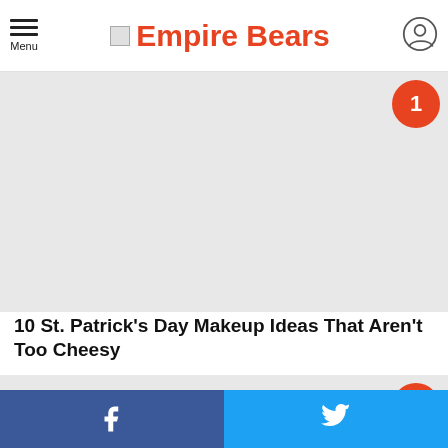Menu | Empire Bears
[Figure (photo): Large gray placeholder image with orange numbered badge '1' in top-right corner]
10 St. Patrick’s Day Makeup Ideas That Aren’t Too Cheesy
[Figure (photo): Large gray placeholder image with orange numbered badge '2' in top-right corner]
Facebook | Twitter social share footer bar